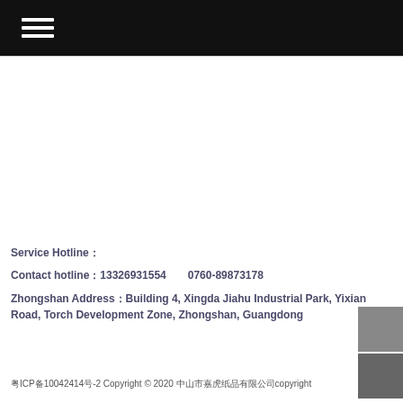≡ (navigation menu icon)
Service Hotline：
Contact hotline：13326931554   0760-89873178
Zhongshan Address：Building 4, Xingda Jiahu Industrial Park, Yixian Road, Torch Development Zone, Zhongshan, Guangdong
粤ICP备10042414号-2 Copyright © 2020 中山市嘉虎纸品有限公司copyright